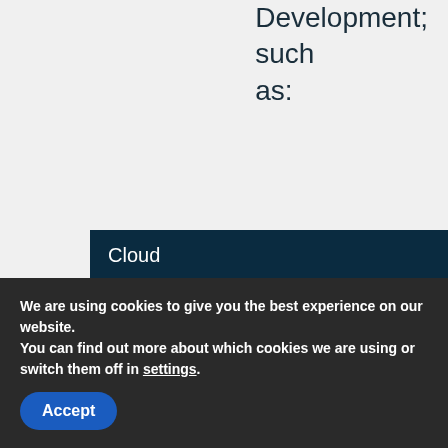Development; such as:
Cloud
Open Source
Big Data
We are using cookies to give you the best experience on our website.
You can find out more about which cookies we are using or switch them off in settings.
Accept